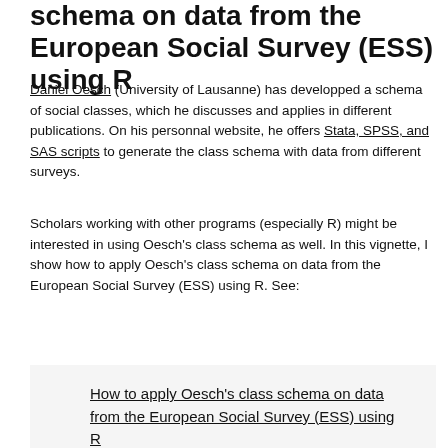schema on data from the European Social Survey (ESS) using R
Daniel Oesch (University of Lausanne) has developped a schema of social classes, which he discusses and applies in different publications. On his personnal website, he offers Stata, SPSS, and SAS scripts to generate the class schema with data from different surveys.
Scholars working with other programs (especially R) might be interested in using Oesch's class schema as well. In this vignette, I show how to apply Oesch's class schema on data from the European Social Survey (ESS) using R. See:
How to apply Oesch's class schema on data from the European Social Survey (ESS) using R